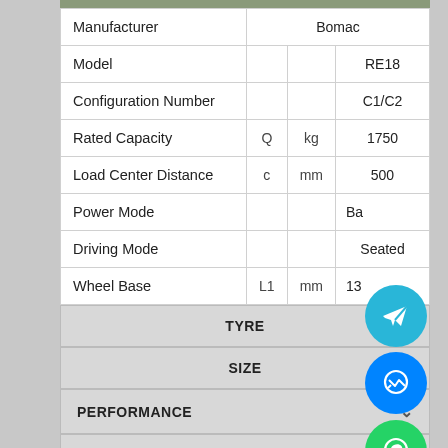|  |  |  |  |
| --- | --- | --- | --- |
| Manufacturer |  |  | Bomac |
| Model |  |  | RE18 |
| Configuration Number |  |  | C1/C2 |
| Rated Capacity | Q | kg | 1750 |
| Load Center Distance | c | mm | 500 |
| Power Mode |  |  | Ba... |
| Driving Mode |  |  | Seated |
| Wheel Base | L1 | mm | 13... |
TYRE
SIZE
PERFORMANCE
WEIGHT & BATTERY